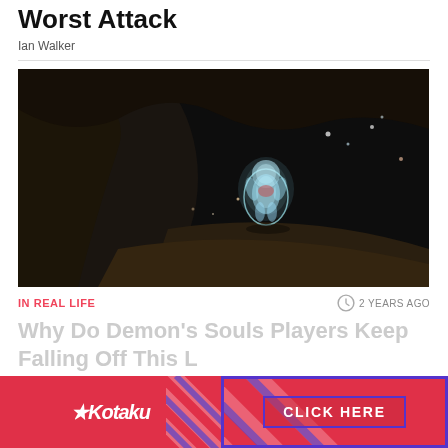Worst Attack
Ian Walker
[Figure (screenshot): Dark cave scene from a video game showing a glowing ghost-like character standing on a ledge with small light particles in background]
IN REAL LIFE
2 YEARS AGO
Why Do Demon's Souls Players Keep Falling Off This L
[Figure (infographic): Kotaku advertisement banner with Kotaku logo on left side and CLICK HERE button on right side, red background with diagonal stripe pattern]